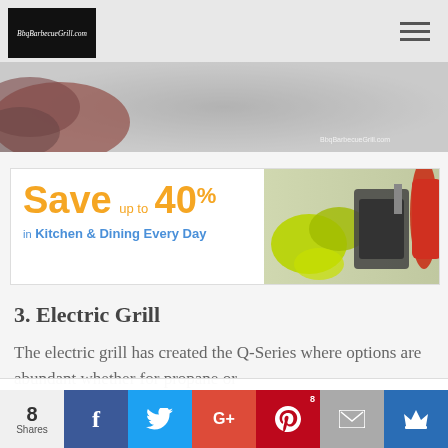BbqBarbecueGrill.com
[Figure (photo): Hero banner image of charcoal BBQ grill with watermark BbqBarbecueGrill.com]
[Figure (infographic): Advertisement banner: Save up to 40% in Kitchen & Dining Every Day with kitchen products image]
3. Electric Grill
The electric grill has created the Q-Series where options are abundant whether for propane or
This website uses cookies to improve your experience. We'll assume you're ok with this, but you can opt-out if you wish.
8 Shares — Share buttons: Facebook, Twitter, Google+, Pinterest (8), Email, Crown